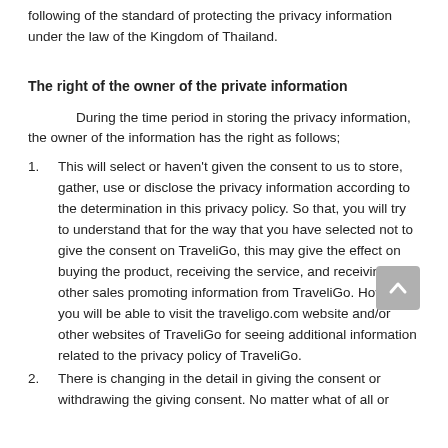following of the standard of protecting the privacy information under the law of the Kingdom of Thailand.
The right of the owner of the private information
During the time period in storing the privacy information, the owner of the information has the right as follows;
This will select or haven't given the consent to us to store, gather, use or disclose the privacy information according to the determination in this privacy policy. So that, you will try to understand that for the way that you have selected not to give the consent on TraveliGo, this may give the effect on buying the product, receiving the service, and receiving other sales promoting information from TraveliGo. However, you will be able to visit the traveligo.com website and/or other websites of TraveliGo for seeing additional information related to the privacy policy of TraveliGo.
There is changing in the detail in giving the consent or withdrawing the giving consent. No matter what of all or